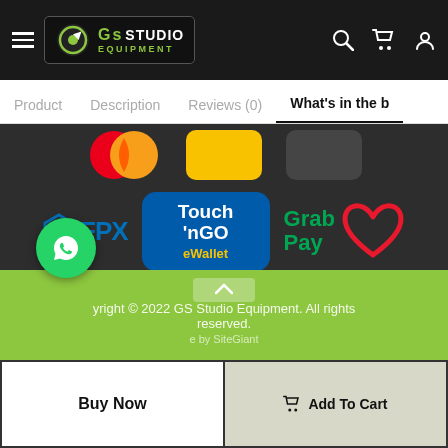[Figure (screenshot): GS Studio Equipment website navigation bar with hamburger menu, logo, search, cart, and user icons on dark background]
Product  Description  Reviews (0)  What's in the b
[Figure (screenshot): Payment method logos on dark background: FPX, Touch 'n Go eWallet, GrabPay with heart logo, and partial Mastercard and other logos]
Copyright © 2022 GS Studio Equipment. All rights reserved.
e by SiteGiant
Buy Now
Add To Cart